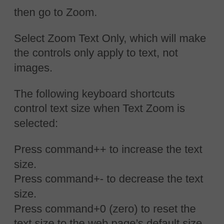then go to Zoom.
Select Zoom Text Only, which will make the controls only apply to text, not images.
The following keyboard shortcuts control text size when Text Zoom is selected:
Press command++ to increase the text size.
Press command+- to decrease the text size.
Press command+0 (zero) to reset the text size to the web page’s default size.
Note that some web pages may display incorrectly if you increase or decrease the